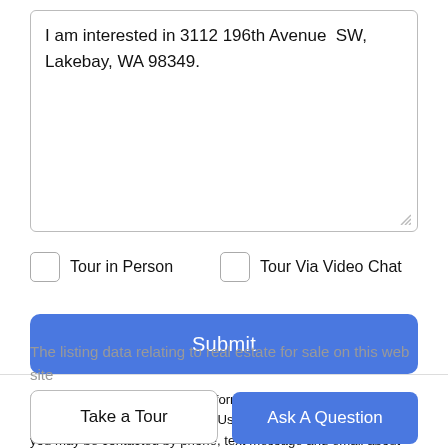I am interested in 3112 196th Avenue SW, Lakebay, WA 98349.
Tour in Person
Tour Via Video Chat
Submit
Disclaimer: By entering your information and submitting this form, you agree to our Terms of Use and Privacy Policy and that you may be contacted by phone, text message and email about your inquiry.
The listing data relating to real estate for sale on this web site
Take a Tour
Ask A Question